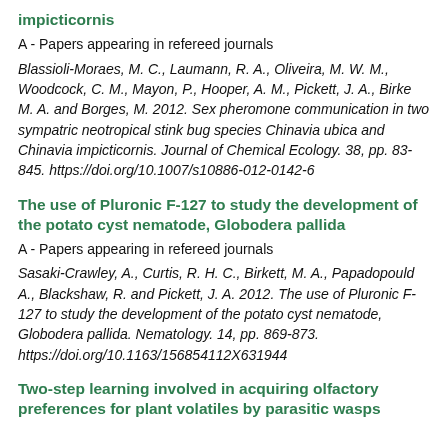impicticornis
A - Papers appearing in refereed journals
Blassioli-Moraes, M. C., Laumann, R. A., Oliveira, M. W. M., Woodcock, C. M., Mayon, P., Hooper, A. M., Pickett, J. A., Birke M. A. and Borges, M. 2012. Sex pheromone communication in two sympatric neotropical stink bug species Chinavia ubica and Chinavia impicticornis. Journal of Chemical Ecology. 38, pp. 83-845. https://doi.org/10.1007/s10886-012-0142-6
The use of Pluronic F-127 to study the development of the potato cyst nematode, Globodera pallida
A - Papers appearing in refereed journals
Sasaki-Crawley, A., Curtis, R. H. C., Birkett, M. A., Papadopould A., Blackshaw, R. and Pickett, J. A. 2012. The use of Pluronic F-127 to study the development of the potato cyst nematode, Globodera pallida. Nematology. 14, pp. 869-873. https://doi.org/10.1163/156854112X631944
Two-step learning involved in acquiring olfactory preferences for plant volatiles by parasitic wasps